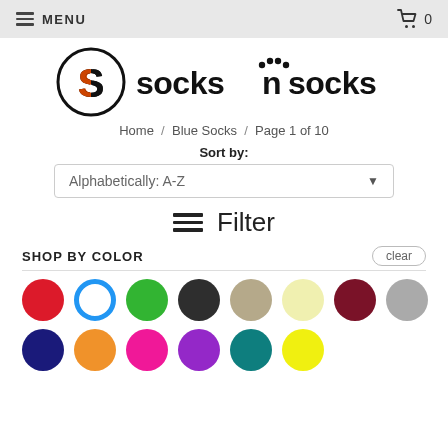MENU  0
[Figure (logo): Socks n Socks logo with circular S icon and text 'socks n socks']
Home / Blue Socks / Page 1 of 10
Sort by:
Alphabetically: A-Z
Filter
SHOP BY COLOR
clear
[Figure (infographic): Color swatches row 1: red, blue (ring), green, dark gray/black, tan/khaki, light yellow, dark red/maroon, gray]
[Figure (infographic): Color swatches row 2: navy blue, orange, hot pink, purple, teal, yellow]